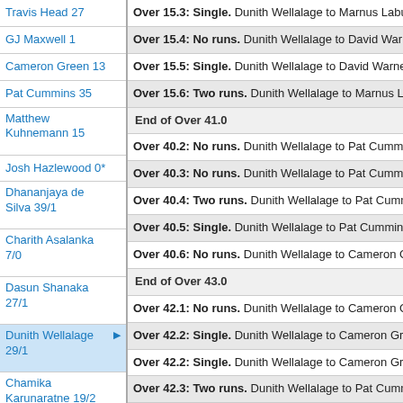| Player | Commentary |
| --- | --- |
| Travis Head 27 | Over 15.3: Single. Dunith Wellalage to Marnus Labus… |
| GJ Maxwell 1 | Over 15.4: No runs. Dunith Wellalage to David Warn… |
| Cameron Green 13 | Over 15.5: Single. Dunith Wellalage to David Warner… |
| Pat Cummins 35 | Over 15.6: Two runs. Dunith Wellalage to Marnus La… |
|  | End of Over 41.0 |
| Matthew Kuhnemann 15 | Over 40.2: No runs. Dunith Wellalage to Pat Cummi… |
| Josh Hazlewood 0* | Over 40.3: No runs. Dunith Wellalage to Pat Cummi… |
| Dhananjaya de Silva 39/1 | Over 40.4: Two runs. Dunith Wellalage to Pat Cumm… |
|  | Over 40.5: Single. Dunith Wellalage to Pat Cummins… |
| Charith Asalanka 7/0 | Over 40.6: No runs. Dunith Wellalage to Cameron G… |
|  | End of Over 43.0 |
| Dasun Shanaka 27/1 | Over 42.1: No runs. Dunith Wellalage to Cameron G… |
| Dunith Wellalage 29/1 | Over 42.2: Single. Dunith Wellalage to Cameron Gre… |
| Chamika Karunaratne 19/2 | Over 42.2: Single. Dunith Wellalage to Cameron Gre… |
|  | Over 42.3: Two runs. Dunith Wellalage to Pat Cumm… |
| Wanindu Hasaranga 52/1 | Over 42.4: No runs. Dunith Wellalage to Pat Cummi… |
| Maheesh Theakshane 40/1 | Over 42.5: Single. Dunith Wellalage to Pat Cummins… |